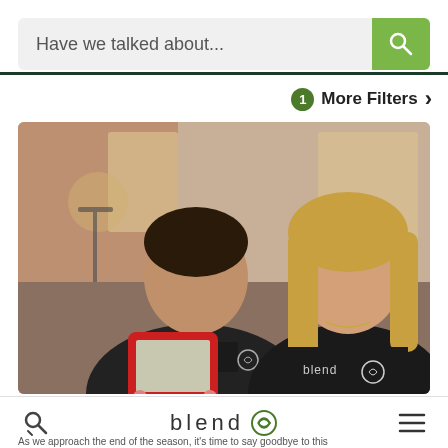Have we talked about...
1  More Filters  >
[Figure (photo): Two people wearing black 'blend' branded t-shirts sitting together and smiling. The man on the left is holding a red Etch A Sketch toy. Indoor setting with brick walls and large windows visible in the background.]
Internship Recap: Summer 2022
As we approach the end of the season, it's time to say goodbye to this year's Summer 2022...
[Figure (logo): blend logo with circular icon]